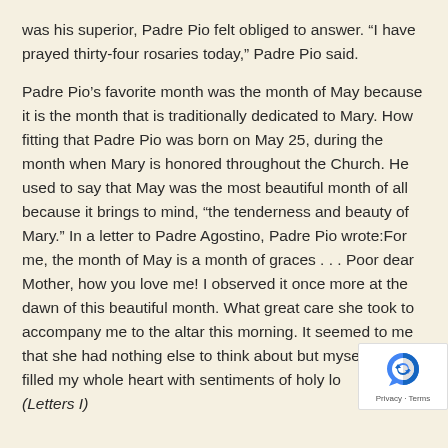was his superior, Padre Pio felt obliged to answer. “I have prayed thirty-four rosaries today,” Padre Pio said.
Padre Pio’s favorite month was the month of May because it is the month that is traditionally dedicated to Mary. How fitting that Padre Pio was born on May 25, during the month when Mary is honored throughout the Church. He used to say that May was the most beautiful month of all because it brings to mind, “the tenderness and beauty of Mary.” In a letter to Padre Agostino, Padre Pio wrote:For me, the month of May is a month of graces . . . Poor dear Mother, how you love me! I observed it once more at the dawn of this beautiful month. What great care she took to accompany me to the altar this morning. It seemed to me that she had nothing else to think about but myself as she filled my whole heart with sentiments of holy love. (Letters I)